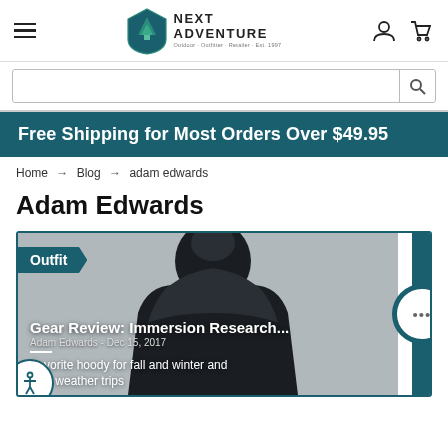Next Adventure — Outdoor · Outfitter · Retailer · Est. 1997
Free Shipping for Most Orders Over $49.95
Home → Blog → adam edwards
Adam Edwards
[Figure (photo): Blog post card showing a person in a black hooded jacket (silhouette against gray background) with an 'Outfit' category tag, article title 'Gear Review: Immersion Research...', byline 'Adam Edwards - Dec 15, 2017', and excerpt 'Favorite hoody for fall and winter and cold weather trips']